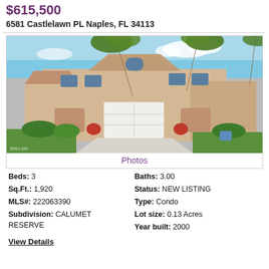$615,500
6581 Castlelawn PL Naples, FL 34113
[Figure (photo): Two-story beige stucco residential home with white garage door, palm trees, manicured landscaping, and a concrete driveway in a Florida neighborhood.]
Photos
Beds: 3
Baths: 3.00
Sq.Ft.: 1,920
Status: NEW LISTING
MLS#: 222063390
Type: Condo
Subdivision: CALUMET RESERVE
Lot size: 0.13 Acres
Year built: 2000
View Details